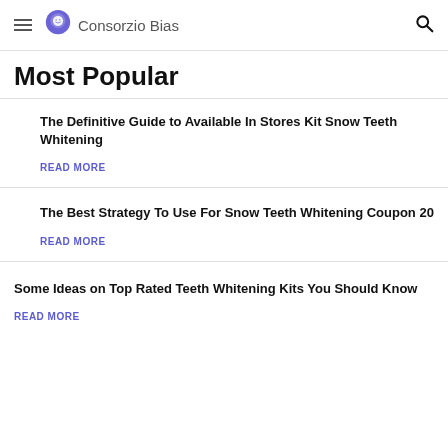Consorzio Bias
Most Popular
The Definitive Guide to Available In Stores Kit Snow Teeth Whitening
READ MORE
The Best Strategy To Use For Snow Teeth Whitening Coupon 20
READ MORE
Some Ideas on Top Rated Teeth Whitening Kits You Should Know
READ MORE